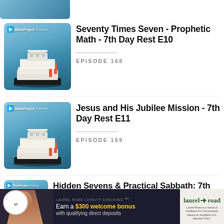[Figure (screenshot): Partial podcast thumbnail at top]
Seventy Times Seven - Prophetic Math - 7th Day Rest E10
EPISODE 168
[Figure (screenshot): BibleProject Podcast thumbnail for episode 168]
Jesus and His Jubilee Mission - 7th Day Rest E11
EPISODE 169
[Figure (screenshot): BibleProject Podcast thumbnail for episode 169]
Hidden Sevens & Practical Sabbath: 7th Day Rest Q&R #2
[Figure (screenshot): BibleProject Podcast thumbnail partial]
[Figure (screenshot): Laurel Road Loyalty Checking advertisement banner - Earn a $300 welcome bonus with qualifying direct deposits]